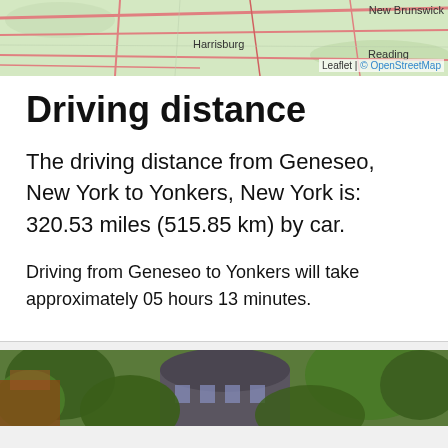[Figure (map): Map showing route from Geneseo, New York to Yonkers, New York, with labels for Harrisburg, Reading, and New Brunswick. OpenStreetMap attribution.]
Driving distance
The driving distance from Geneseo, New York to Yonkers, New York is: 320.53 miles (515.85 km) by car.
Driving from Geneseo to Yonkers will take approximately 05 hours 13 minutes.
[Figure (photo): Photo of a building with trees and foliage, appears to be a park or campus building in Yonkers.]